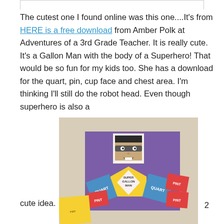The cutest one I found online was this one....It's from HERE is a free download from Amber Polk at Adventures of a 3rd Grade Teacher.  It is really cute. It's a Gallon Man with the body of a Superhero! That would be so fun for my kids too.  She has a download for the quart, pin, cup face and chest area.  I'm thinking I'll still do the robot head.  Even though superhero is also a
[Figure (photo): Photo of a Superhero Gallon Man craft made from colorful paper shapes on a purple background. The figure has a drawn face with dark hair and a mask, and a chest labeled 'SUPER GALLON MAN'. The body parts are labeled with measurement units: QUART (blue squares), PINT (red rectangles), and partially visible labels.]
cute idea.